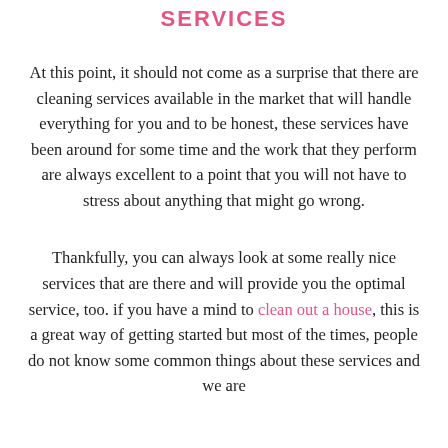SERVICES
At this point, it should not come as a surprise that there are cleaning services available in the market that will handle everything for you and to be honest, these services have been around for some time and the work that they perform are always excellent to a point that you will not have to stress about anything that might go wrong.
Thankfully, you can always look at some really nice services that are there and will provide you the optimal service, too. if you have a mind to clean out a house, this is a great way of getting started but most of the times, people do not know some common things about these services and we are